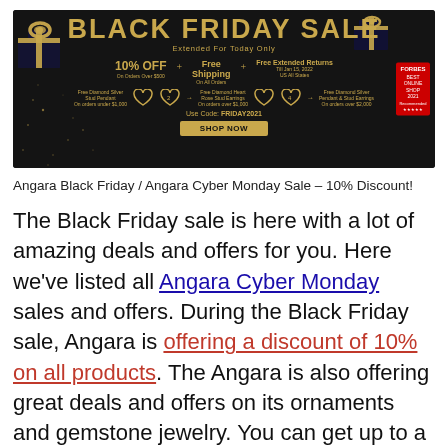[Figure (illustration): Black Friday Sale banner ad for Angara jewelry. Dark/black background with gold gift boxes in corners, gold text reading BLACK FRIDAY SALE Extended For Today Only, 10% OFF on orders over $500, Free Shipping on All Orders, Free Extended Returns Till Jan 15 2022, free gemstone/diamond jewelry gifts, Use Code FRIDAY2021, SHOP NOW button.]
Angara Black Friday / Angara Cyber Monday Sale – 10% Discount!
The Black Friday sale is here with a lot of amazing deals and offers for you. Here we've listed all Angara Cyber Monday sales and offers. During the Black Friday sale, Angara is offering a discount of 10% on all products. The Angara is also offering great deals and offers on its ornaments and gemstone jewelry. You can get up to a 10% discount during Angara Cyber Monday Sale. If you are looking to purchase something